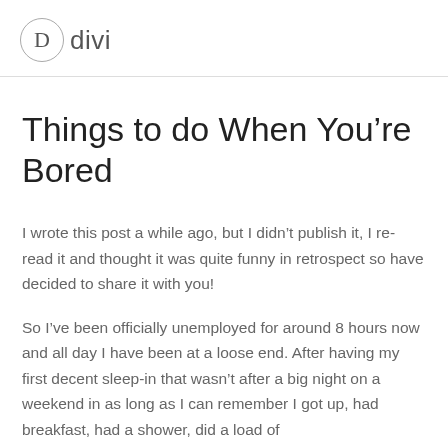D divi
Things to do When You’re Bored
I wrote this post a while ago, but I didn’t publish it, I re-read it and thought it was quite funny in retrospect so have decided to share it with you!
So I’ve been officially unemployed for around 8 hours now and all day I have been at a loose end. After having my first decent sleep-in that wasn’t after a big night on a weekend in as long as I can remember I got up, had breakfast, had a shower, did a load of